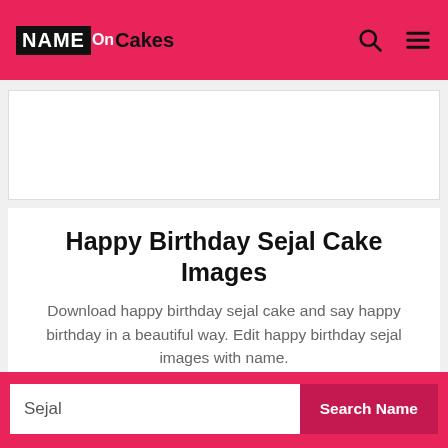NAME ON CAKES
[Figure (other): Advertisement placeholder block]
Happy Birthday Sejal Cake Images
Download happy birthday sejal cake and say happy birthday in a beautiful way. Edit happy birthday sejal images with name.
Sejal — Search Name (search input)